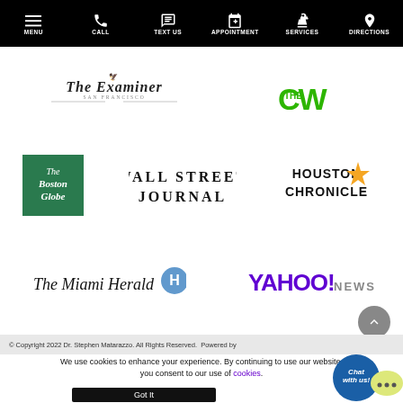MENU | CALL | TEXT US | APPOINTMENT | SERVICES | DIRECTIONS
[Figure (logo): The San Francisco Examiner newspaper logo with eagle graphic]
[Figure (logo): The CW television network logo in green]
[Figure (logo): The Boston Globe logo in green box with gothic font]
[Figure (logo): Wall Street Journal logo in bold serif capital letters]
[Figure (logo): Houston Chronicle logo with gold star]
[Figure (logo): The Miami Herald logo with herald emblem]
[Figure (logo): Yahoo! News logo in purple]
© Copyright 2022 Dr. Stephen Matarazzo. All Rights Reserved. Powered by
We use cookies to enhance your experience. By continuing to use our website, you consent to our use of cookies.
Got It